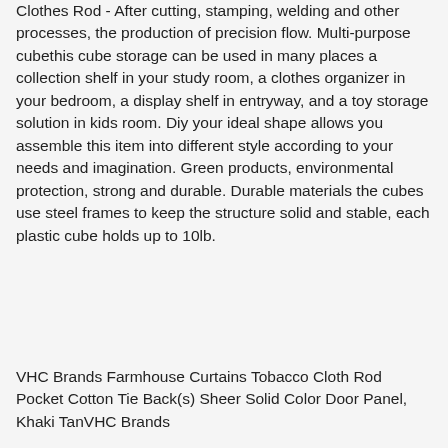Clothes Rod - After cutting, stamping, welding and other processes, the production of precision flow. Multi-purpose cubethis cube storage can be used in many places a collection shelf in your study room, a clothes organizer in your bedroom, a display shelf in entryway, and a toy storage solution in kids room. Diy your ideal shape allows you assemble this item into different style according to your needs and imagination. Green products, environmental protection, strong and durable. Durable materials the cubes use steel frames to keep the structure solid and stable, each plastic cube holds up to 10lb.
VHC Brands Farmhouse Curtains Tobacco Cloth Rod Pocket Cotton Tie Back(s) Sheer Solid Color Door Panel, Khaki TanVHC Brands